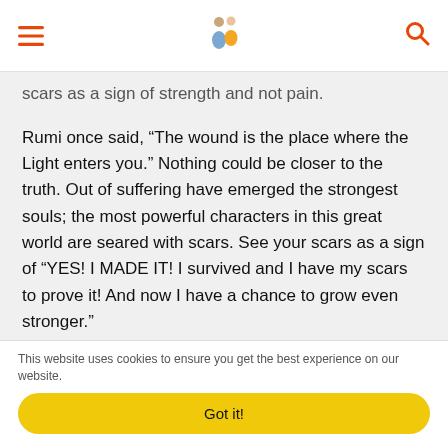[hamburger menu] [logo] [search]
scars as a sign of strength and not pain.
Rumi once said, “The wound is the place where the Light enters you.” Nothing could be closer to the truth. Out of suffering have emerged the strongest souls; the most powerful characters in this great world are seared with scars. See your scars as a sign of “YES! I MADE IT! I survived and I have my scars to prove it! And now I have a chance to grow even stronger.”
5. Every little struggle is a step
This website uses cookies to ensure you get the best experience on our website.
Got it!